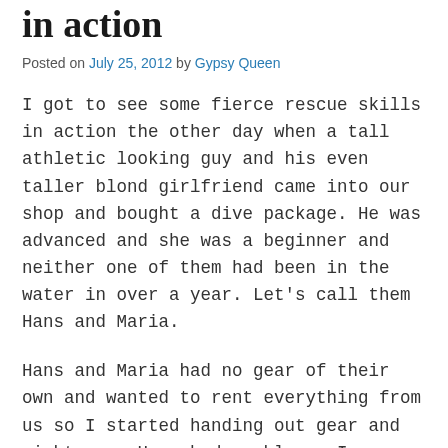in action
Posted on July 25, 2012 by Gypsy Queen
I got to see some fierce rescue skills in action the other day when a tall athletic looking guy and his even taller blond girlfriend came into our shop and bought a dive package. He was advanced and she was a beginner and neither one of them had been in the water in over a year. Let's call them Hans and Maria.
Hans and Maria had no gear of their own and wanted to rent everything from us so I started handing out gear and right away Hans had problems. I gave him a weight belt with 12lb on it and he handed it back to me and said he wanted smaller weights that he could put in the pockets of his BCD. Well, no. Sorry. There's no way I'm